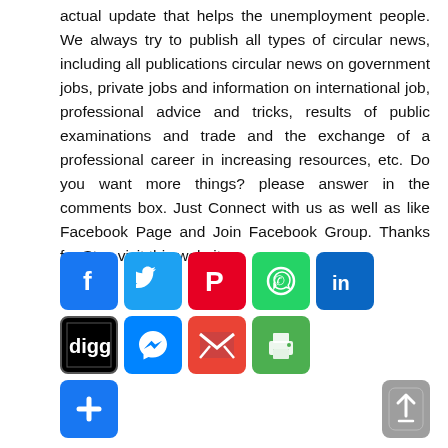actual update that helps the unemployment people. We always try to publish all types of circular news, including all publications circular news on government jobs, private jobs and information on international job, professional advice and tricks, results of public examinations and trade and the exchange of a professional career in increasing resources, etc. Do you want more things? please answer in the comments box. Just Connect with us as well as like Facebook Page and Join Facebook Group. Thanks for Stay visit this website.
[Figure (infographic): Row of social media share buttons: Facebook, Twitter, Pinterest, WhatsApp, LinkedIn, Digg, Messenger, Gmail, Print, plus button, and a scroll-to-top icon]